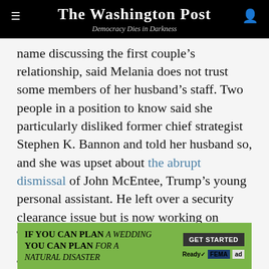The Washington Post — Democracy Dies in Darkness
name discussing the first couple's relationship, said Melania does not trust some members of her husband's staff. Two people in a position to know said she particularly disliked former chief strategist Stephen K. Bannon and told her husband so, and she was upset about the abrupt dismissal of John McEntee, Trump's young personal assistant. He left over a security clearance issue but is now working on Trump's reelection effort.
Trump insisted on a prenuptial agreement when he married Melania 13 years ago, just as he had with his
[Figure (other): Advertisement banner: IF YOU CAN PLAN A WEDDING YOU CAN PLAN FOR A NATURAL DISASTER — Ready, FEMA, ad badge, GET STARTED button]